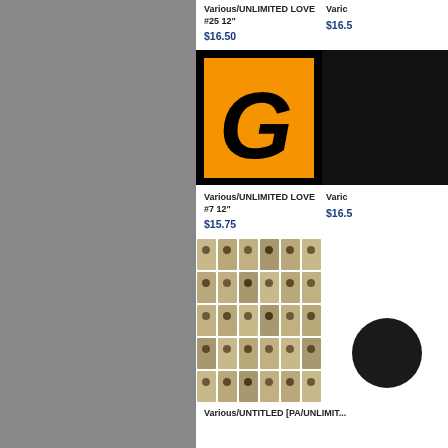[Figure (photo): Partial album art visible at top, cropped]
Various/UNLIMITED LOVE #25 12"
$16.50
Varic
$16.5
[Figure (photo): Album cover with black background and orange rectangle containing bold italic G logo]
Various/UNLIMITED LOVE #7 12"
$15.75
Varic
$16.5
[Figure (photo): Contact sheet style album art with 5x6 grid of small black and white portrait photographs]
Various/UNTITLED [PA/UNLIMITED]...